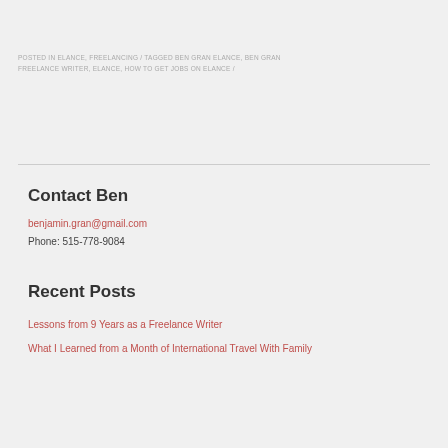POSTED IN ELANCE, FREELANCING / TAGGED BEN GRAN ELANCE, BEN GRAN FREELANCE WRITER, ELANCE, HOW TO GET JOBS ON ELANCE /
Contact Ben
benjamin.gran@gmail.com
Phone: 515-778-9084
Recent Posts
Lessons from 9 Years as a Freelance Writer
What I Learned from a Month of International Travel With Family